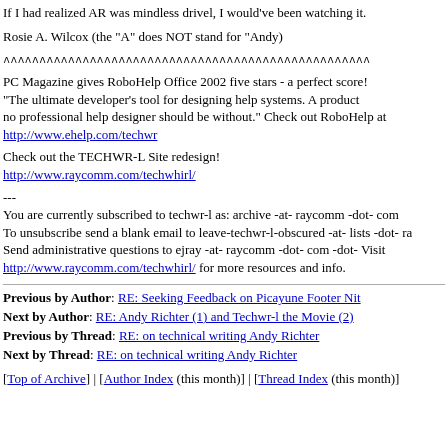If I had realized AR was mindless drivel, I would've been watching it.
Rosie A. Wilcox (the "A" does NOT stand for "Andy)
^^^^^^^^^^^^^^^^^^^^^^^^^^^^^^^^^^^^^^^^^^^^^^^^^^^
PC Magazine gives RoboHelp Office 2002 five stars - a perfect score! "The ultimate developer's tool for designing help systems. A product no professional help designer should be without." Check out RoboHelp at http://www.ehelp.com/techwr
Check out the TECHWR-L Site redesign! http://www.raycomm.com/techwhirl/
---
You are currently subscribed to techwr-l as: archive -at- raycomm -dot- com
To unsubscribe send a blank email to leave-techwr-l-obscured -at- lists -dot- ra
Send administrative questions to ejray -at- raycomm -dot- com -dot- Visit http://www.raycomm.com/techwhirl/ for more resources and info.
Previous by Author: RE: Seeking Feedback on Picayune Footer Nit
Next by Author: RE: Andy Richter (1) and Techwr-l the Movie (2)
Previous by Thread: RE: on technical writing Andy Richter
Next by Thread: RE: on technical writing Andy Richter
[Top of Archive] | [Author Index (this month)] | [Thread Index (this month)]